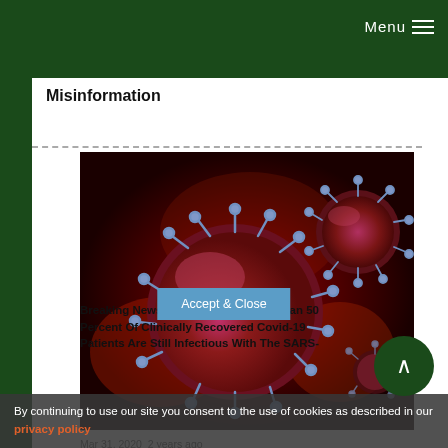Menu
Misinformation
[Figure (photo): Close-up illustration of coronavirus particles (SARS-CoV-2) rendered in red and purple against a dark red background, showing spike proteins on the viral surface.]
Mar 31, 2020  2 years ago
Source: Covid-19 Research
Breaking News: Study Shows More Than 50 Percent Of Clinically Recovered Covid-19 Patients Are Still Infectious With The SARS-
By continuing to use our site you consent to the use of cookies as described in our privacy policy